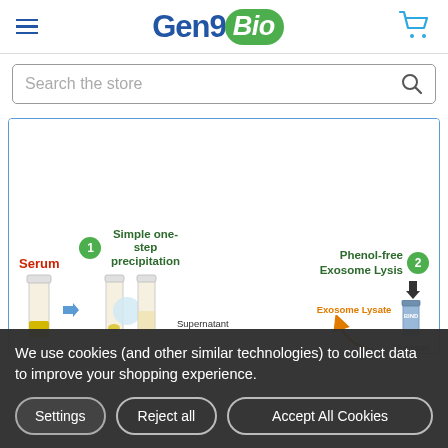Gen9Bio
Search the store
[Figure (infographic): Scientific workflow diagram showing exosome isolation steps: Serum sample, Step 1 - Simple one-step precipitation, Step 2 - Phenol-free Exosome Lysis, showing Exosome Lysate with orange arrow, BIND step 3 minutes, Supernatant labeled on test tube]
We use cookies (and other similar technologies) to collect data to improve your shopping experience.
Settings
Reject all
Accept All Cookies